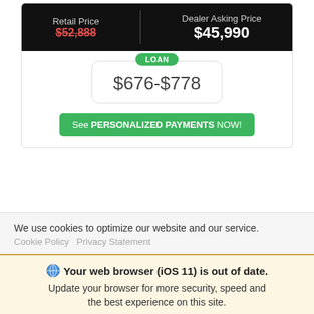Retail Price $52,888 | Dealer Asking Price $45,990
LOAN $676-$778
See PERSONALIZED PAYMENTS NOW!
We use cookies to optimize our website and our service. Cookie Policy  Privacy Statement
Your web browser (iOS 11) is out of date. Update your browser for more security, speed and the best experience on this site.
Update browser
Ignore